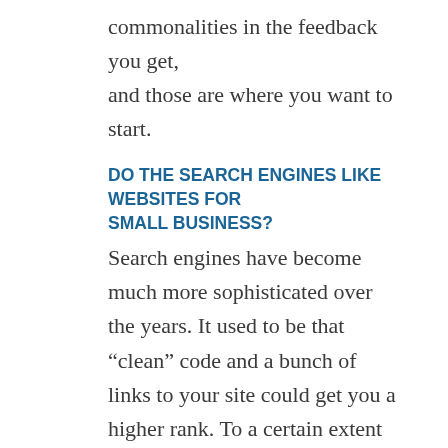commonalities in the feedback you get, and those are where you want to start.
DO THE SEARCH ENGINES LIKE WEBSITES FOR SMALL BUSINESS?
Search engines have become much more sophisticated over the years. It used to be that “clean” code and a bunch of links to your site could get you a higher rank. To a certain extent that’s still true, but as website builders have grown in popularity, their user friendly nature can come at a cost.
WordPress was among the first website builders and now powers tens of millions